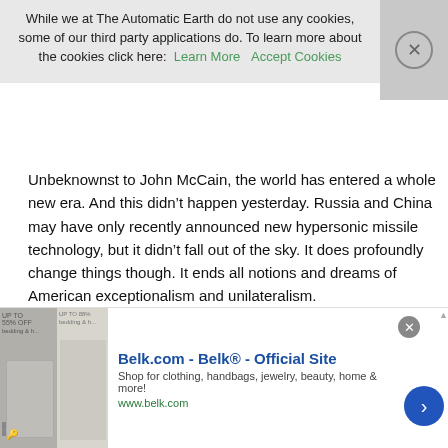While we at The Automatic Earth do not use any cookies, some of our third party applications do. To learn more about the cookies click here:  Learn More   Accept Cookies
Unbeknownst to John McCain, the world has entered a whole new era. And this didn't happen yesterday. Russia and China may have only recently announced new hypersonic missile technology, but it didn't fall out of the sky. It does profoundly change things though. It ends all notions and dreams of American exceptionalism and unilateralism.
And America needs to learn that lesson. It will have to do it without John McCain. And it might as well, because McCain was incapable of changing, and of seeing the changes around him. But the American view of the world will have to change, because the world itself has.
Still, you're right: the real tragedy is not that John McCain wasted his
[Figure (screenshot): Advertisement banner for Belk.com - Belk® Official Site. Shows product images on the left, ad text in the middle, and a blue arrow button on the right.]